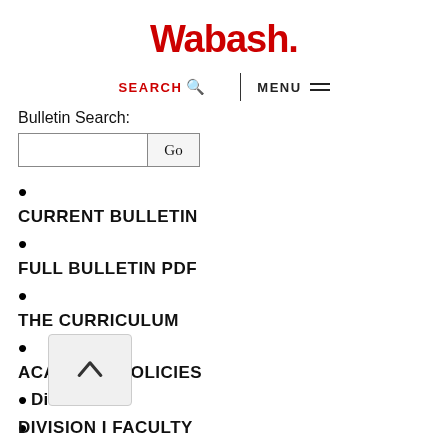Wabash.
SEARCH  MENU
Bulletin Search:
CURRENT BULLETIN
FULL BULLETIN PDF
THE CURRICULUM
ACADEMIC POLICIES
Division I
DIVISION I FACULTY